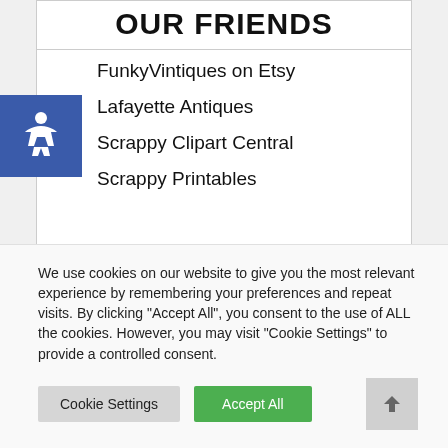OUR FRIENDS
FunkyVintiques on Etsy
Lafayette Antiques
Scrappy Clipart Central
Scrappy Printables
We use cookies on our website to give you the most relevant experience by remembering your preferences and repeat visits. By clicking "Accept All", you consent to the use of ALL the cookies. However, you may visit "Cookie Settings" to provide a controlled consent.